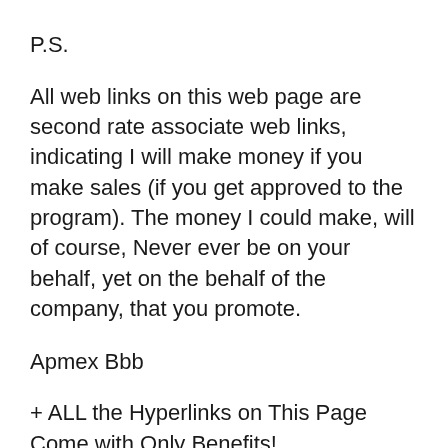P.S.
All web links on this web page are second rate associate web links, indicating I will make money if you make sales (if you get approved to the program). The money I could make, will of course, Never ever be on your behalf, yet on the behalf of the company, that you promote.
Apmex Bbb
+ ALL the Hyperlinks on This Page Come with Only Benefits!
IF you join with any one of the Hyperlinks on this web page you will obtain a HUGE